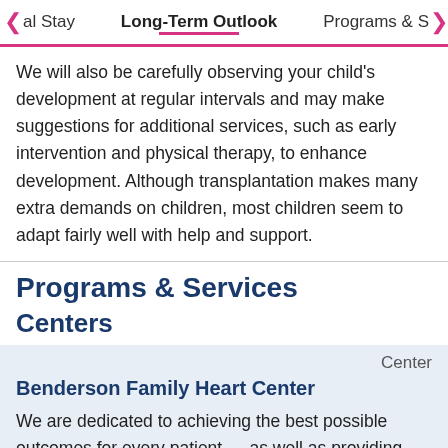al Stay   Long-Term Outlook   Programs & S
We will also be carefully observing your child's development at regular intervals and may make suggestions for additional services, such as early intervention and physical therapy, to enhance development. Although transplantation makes many extra demands on children, most children seem to adapt fairly well with help and support.
Programs & Services
Centers
Center
Benderson Family Heart Center
We are dedicated to achieving the best possible outcomes for every patient — as well as providing long-term support for every family. Learn more.